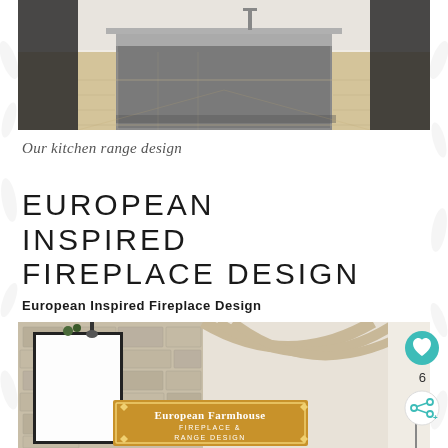[Figure (illustration): 3D render of a modern kitchen with a large gray island, light wood flooring, and dark accents]
Our kitchen range design
EUROPEAN INSPIRED FIREPLACE DESIGN
European Inspired Fireplace Design
[Figure (photo): Interior photo of a European farmhouse fireplace with stone wall, black framed mirror, exposed beams, and a golden sign reading 'European Farmhouse Fireplace & Range Design'. A heart/favorite button (teal), count of 6, and share button overlay the right side.]